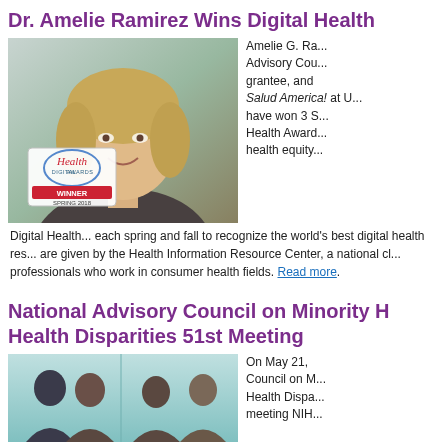Dr. Amelie Ramirez Wins Digital Health
[Figure (photo): Dr. Amelie Ramirez smiling, with Digital Health Awards 'WINNER SPRING 2018' badge overlaid on the photo]
Amelie G. Ra... Advisory Cou... grantee, and Salud America! at U... have won 3 S... Health Awar... health equity...
Digital Health... each spring and fall to recognize the world's best digital health res... are given by the Health Information Resource Center, a national cl... professionals who work in consumer health fields. Read more.
National Advisory Council on Minority Health Disparities 51st Meeting
[Figure (photo): Group photo of council members at the National Advisory Council on Minority Health Disparities 51st Meeting]
On May 21, Council on M... Health Dispa... meeting NIH...